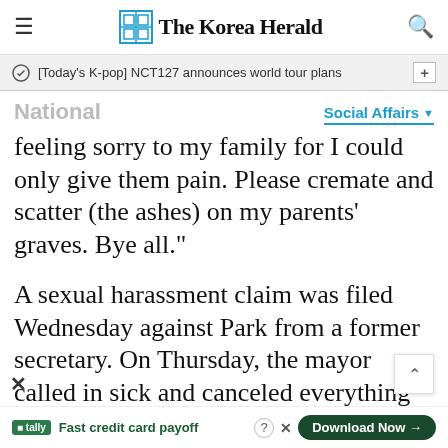The Korea Herald
[Today's K-pop] NCT127 announces world tour plans
National
Social Affairs
feeling sorry to my family for I could only give them pain. Please cremate and scatter (the ashes) on my parents' graves. Bye all."
A sexual harassment claim was filed Wednesday against Park from a former secretary. On Thursday, the mayor called in sick and canceled everything on his official schedule for the day.
Fast credit card payoff
Download Now →